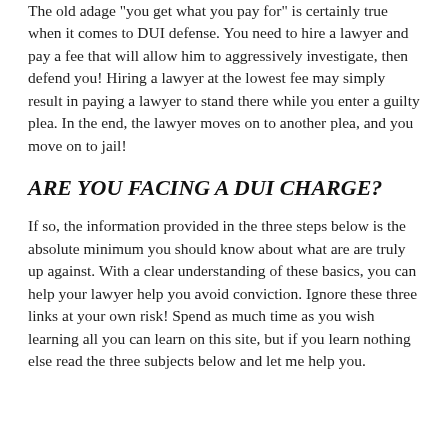The old adage "you get what you pay for" is certainly true when it comes to DUI defense. You need to hire a lawyer and pay a fee that will allow him to aggressively investigate, then defend you! Hiring a lawyer at the lowest fee may simply result in paying a lawyer to stand there while you enter a guilty plea. In the end, the lawyer moves on to another plea, and you move on to jail!
ARE YOU FACING A DUI CHARGE?
If so, the information provided in the three steps below is the absolute minimum you should know about what are are truly up against. With a clear understanding of these basics, you can help your lawyer help you avoid conviction. Ignore these three links at your own risk! Spend as much time as you wish learning all you can learn on this site, but if you learn nothing else read the three subjects below and let me help you.